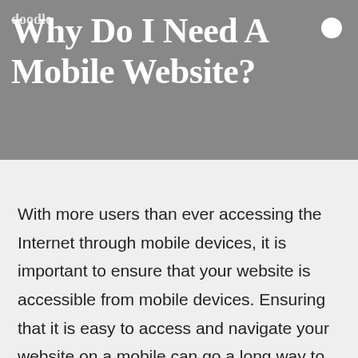doodle
Why Do I Need A Mobile Website?
With more users than ever accessing the Internet through mobile devices, it is important to ensure that your website is accessible from mobile devices. Ensuring that it is easy to access and navigate your website on a mobile can go a long way to capturing an audience accessing the